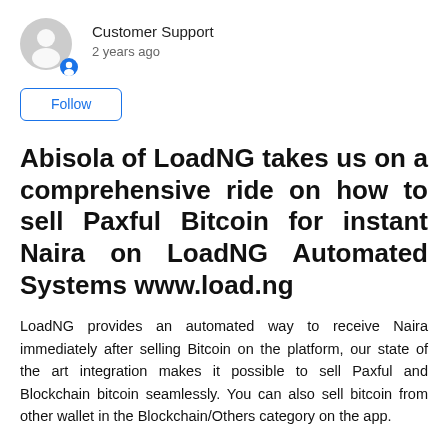Customer Support
2 years ago
Follow
Abisola of LoadNG takes us on a comprehensive ride on how to sell Paxful Bitcoin for instant Naira on LoadNG Automated Systems www.load.ng
LoadNG provides an automated way to receive Naira immediately after selling Bitcoin on the platform, our state of the art integration makes it possible to sell Paxful and Blockchain bitcoin seamlessly. You can also sell bitcoin from other wallet in the Blockchain/Others category on the app.